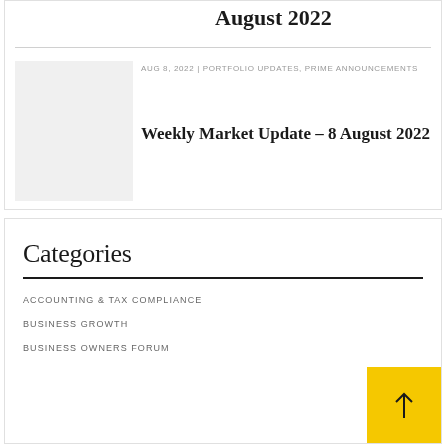August 2022
AUG 8, 2022 | PORTFOLIO UPDATES, PRIME ANNOUNCEMENTS
Weekly Market Update – 8 August 2022
Categories
ACCOUNTING & TAX COMPLIANCE
BUSINESS GROWTH
BUSINESS OWNERS FORUM